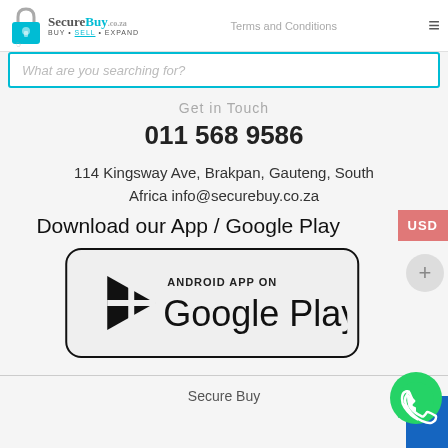Return and Refunds Policy
[Figure (logo): SecureBuy logo with padlock icon and text BUY SELL EXPAND]
Terms and Conditions
Contact Us
What are you searching for?
Get in Touch
011 568 9586
114 Kingsway Ave, Brakpan, Gauteng, South Africa info@securebuy.co.za
Download our App / Google Play
[Figure (screenshot): Google Play Store badge with Android App On text and Play triangle logo]
Secure Buy